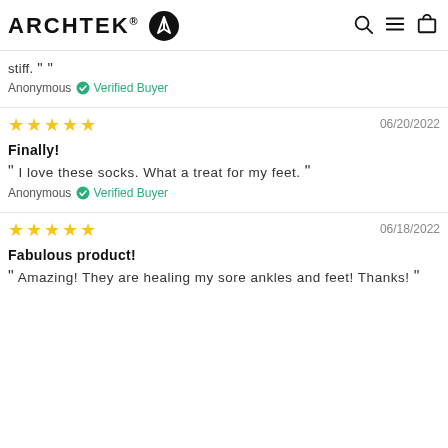ARCHTEK® [logo] [search] [menu] [cart]
stiff. ""
Anonymous ✓ Verified Buyer
★★★★★  06/20/2022
Finally!
" I love these socks. What a treat for my feet. "
Anonymous ✓ Verified Buyer
★★★★★  06/18/2022
Fabulous product!
" Amazing! They are healing my sore ankles and feet! Thanks! "